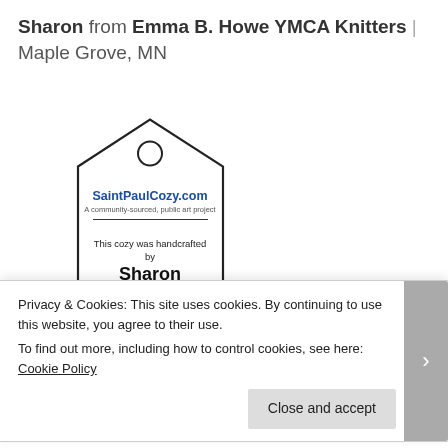Sharon from Emma B. Howe YMCA Knitters | Maple Grove, MN
[Figure (illustration): A hang tag with a hole at the top. Contains SaintPaulCozy.com logo, subtitle 'A community-sourced, public art project', a horizontal rule, and text: 'This cozy was handcrafted by Sharon from The Emma B. Howe YMCA Knitters Maple Grove, MN'. Below another rule are decorative street lamp illustrations and text 'Brought to you by [Saint Paul something]']
Privacy & Cookies: This site uses cookies. By continuing to use this website, you agree to their use.
To find out more, including how to control cookies, see here: Cookie Policy
Close and accept